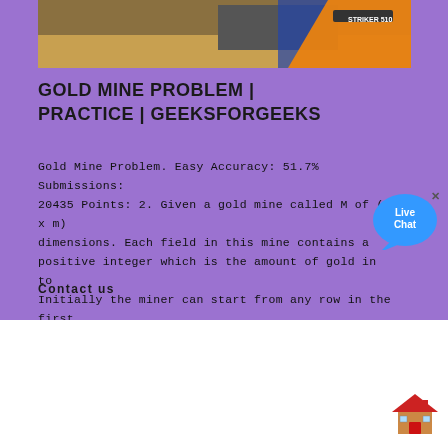[Figure (photo): Partial image of a mining machine/excavator at a gold mine site, cropped at top]
GOLD MINE PROBLEM | PRACTICE | GEEKSFORGEEKS
Gold Mine Problem. Easy Accuracy: 51.7% Submissions: 20435 Points: 2. Given a gold mine called M of (n x m) dimensions. Each field in this mine contains a positive integer which is the amount of gold in tons. Initially the miner can start from any row in the first column.
Contact us
[Figure (illustration): Live Chat speech bubble icon with blue styling]
[Figure (illustration): House/home icon in red and brown colors at bottom right corner]